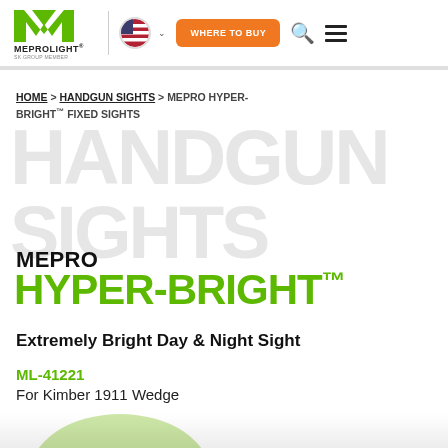[Figure (logo): Meprolight logo with green M checkmark and MEPROLIGHT text, SK Group Member subtitle]
[Figure (other): Navigation header with flag/language selector, WHERE TO BUY orange button, search icon, and hamburger menu]
HOME > HANDGUN SIGHTS > MEPRO HYPER-BRIGHT™ FIXED SIGHTS
[Figure (other): Large light gray watermark text reading HANDGUN SIGHTS in the background]
MEPRO HYPER-BRIGHT™
Extremely Bright Day & Night Sight
ML-41221
For Kimber 1911 Wedge